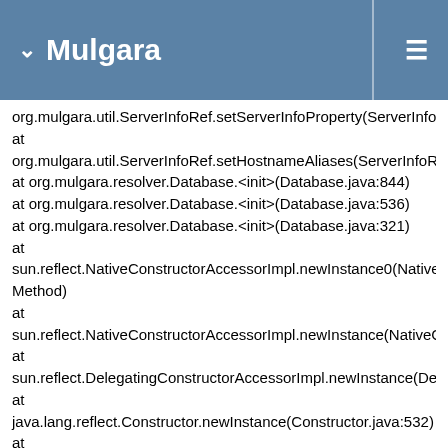Mulgara
org.mulgara.util.ServerInfoRef.setServerInfoProperty(ServerInfoRef.ja
at
org.mulgara.util.ServerInfoRef.setHostnameAliases(ServerInfoRef.jav
at org.mulgara.resolver.Database.<init>(Database.java:844)
at org.mulgara.resolver.Database.<init>(Database.java:536)
at org.mulgara.resolver.Database.<init>(Database.java:321)
at
sun.reflect.NativeConstructorAccessorImpl.newInstance0(Native Method)
at
sun.reflect.NativeConstructorAccessorImpl.newInstance(NativeConstr
at
sun.reflect.DelegatingConstructorAccessorImpl.newInstance(Delegati
at java.lang.reflect.Constructor.newInstance(Constructor.java:532)
at
org.mulgara.server.SessionFactoryFactory.getTripleStoreImplementat
at
org.mulgara.server.SessionFactoryFactory.newSessionFactory(Sessio
at
org.mulgara.server.ServletMulgaraServer.createDatabase(ServletMulg
at
org.mulgara.server.ServletMulgaraServer.init(ServletMulgaraServer.ja
at javax.servlet.GenericServlet.init(GenericServlet.java:212)
at